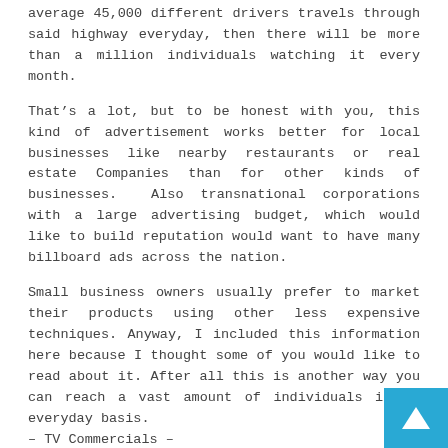average 45,000 different drivers travels through said highway everyday, then there will be more than a million individuals watching it every month.
That&#8217;s a lot, but to be honest with you, this kind of advertisement works better for local businesses like nearby restaurants or real estate Companies than for other kinds of businesses. Also transnational corporations with a large advertising budget, which would like to build reputation would want to have many billboard ads across the nation.
Small business owners usually prefer to market their products using other less expensive techniques. Anyway, I included this information here because I thought some of you would like to read about it. After all this is another way you can reach a vast amount of individuals in an everyday basis.
&#8211; TV Commercials &#8211;
To advertise on television will have a powerful impact on your business revenues. Different factors will determine how much this marketing strategy will cost you. For example the price vary depending on the channels you choose, how often you advertise, etc.